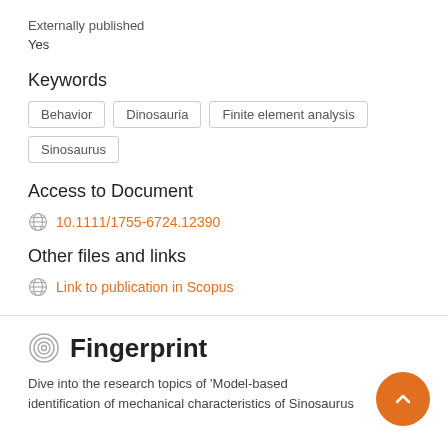Externally published
Yes
Keywords
Behavior
Dinosauria
Finite element analysis
Sinosaurus
Access to Document
10.1111/1755-6724.12390
Other files and links
Link to publication in Scopus
Fingerprint
Dive into the research topics of 'Model-based identification of mechanical characteristics of Sinosaurus